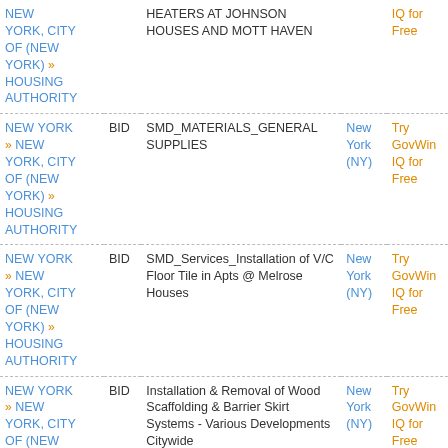| Entity | Type | Title | Location | Action |
| --- | --- | --- | --- | --- |
| NEW YORK » NEW YORK, CITY OF (NEW YORK) » HOUSING AUTHORITY |  | HEATERS AT JOHNSON HOUSES AND MOTT HAVEN | (NY) | IQ for Free |
| NEW YORK » NEW YORK, CITY OF (NEW YORK) » HOUSING AUTHORITY | BID | SMD_MATERIALS_GENERAL SUPPLIES | New York (NY) | Try GovWin IQ for Free |
| NEW YORK » NEW YORK, CITY OF (NEW YORK) » HOUSING AUTHORITY | BID | SMD_Services_Installation of V/C Floor Tile in Apts @ Melrose Houses | New York (NY) | Try GovWin IQ for Free |
| NEW YORK » NEW YORK, CITY OF (NEW YORK) » HOUSING AUTHORITY | BID | Installation & Removal of Wood Scaffolding & Barrier Skirt Systems - Various Developments Citywide | New York (NY) | Try GovWin IQ for Free |